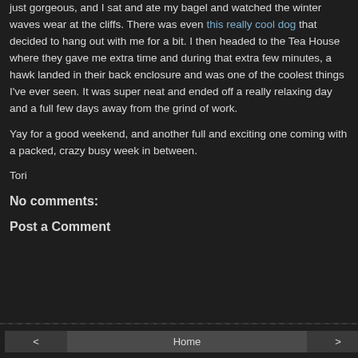just gorgeous, and I sat and ate my bagel and watched the winter waves wear at the cliffs. There was even this really cool dog that decided to hang out with me for a bit. I then headed to the Tea House where they gave me extra time and during that extra few minutes, a hawk landed in their back enclosure and was one of the coolest things I've ever seen. It was super neat and ended off a really relaxing day and a full few days away from the grind of work.
Yay for a good weekend, and another full and exciting one coming with a packed, crazy busy week in between.
Tori
No comments:
Post a Comment
< | Home | >